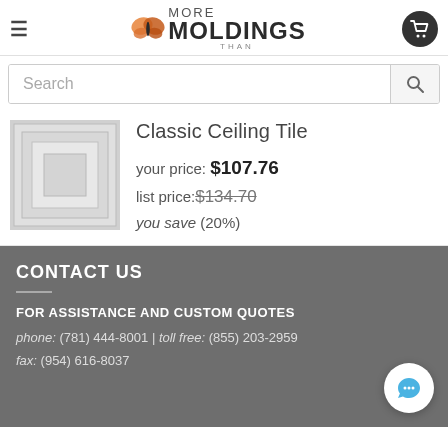[Figure (logo): More Than Moldings logo with butterfly graphic and cart icon]
Search
[Figure (photo): Classic Ceiling Tile product thumbnail — square white ceiling tile with beveled border]
Classic Ceiling Tile
your price: $107.76
list price: $134.70
you save (20%)
CONTACT US
FOR ASSISTANCE AND CUSTOM QUOTES
phone: (781) 444-8001 | toll free: (855) 203-2959
fax: (954) 616-8037